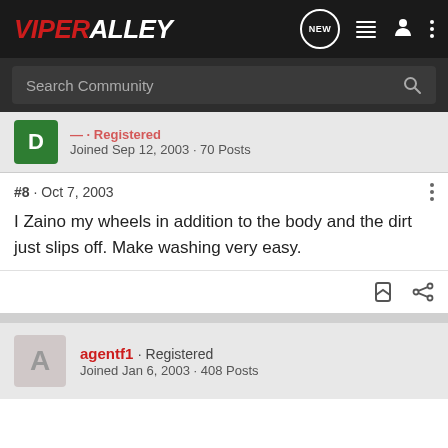ViperAlley
Search Community
Joined Sep 12, 2003 · 70 Posts
#8 · Oct 7, 2003
I Zaino my wheels in addition to the body and the dirt just slips off. Make washing very easy.
agentf1 · Registered
Joined Jan 6, 2003 · 408 Posts